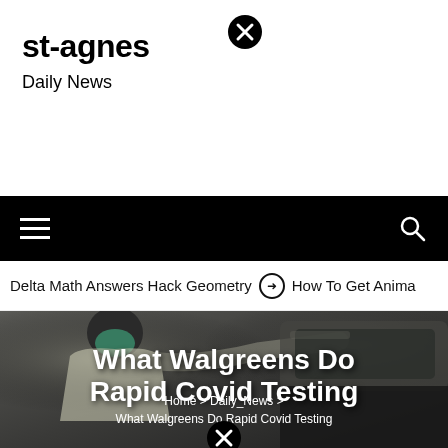st-agnes
Daily News
[Figure (screenshot): Close/dismiss button (circled X) at top of page]
Delta Math Answers Hack Geometry  ❯  How To Get Anima
[Figure (photo): Healthcare worker in mask leaning into car window during drive-through COVID testing, with article title overlay]
What Walgreens Do Rapid Covid Testing
Home > Daily_News > What Walgreens Do Rapid Covid Testing
[Figure (screenshot): Close/dismiss button (circled X) at bottom of page]